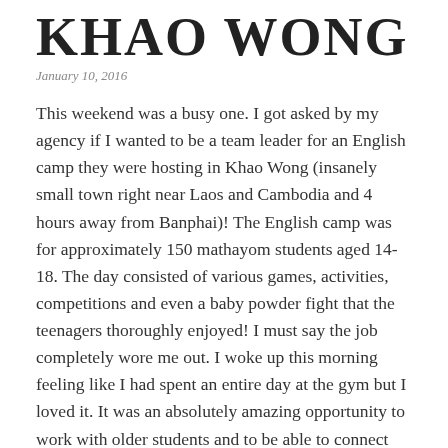KHAO WONG
January 10, 2016
This weekend was a busy one. I got asked by my agency if I wanted to be a team leader for an English camp they were hosting in Khao Wong (insanely small town right near Laos and Cambodia and 4 hours away from Banphai)! The English camp was for approximately 150 mathayom students aged 14-18. The day consisted of various games, activities, competitions and even a baby powder fight that the teenagers thoroughly enjoyed! I must say the job completely wore me out. I woke up this morning feeling like I had spent an entire day at the gym but I loved it. It was an absolutely amazing opportunity to work with older students and to be able to connect with them on a more personal level! I love teaching kindergarten but the conversations that you can have with them are very limited to say the least! Anyways, I hope that everyone had a